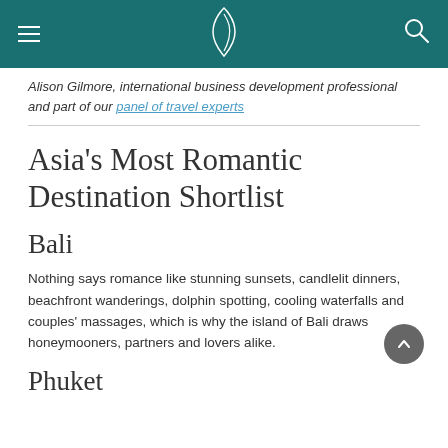Navigation bar with hamburger menu, Cathay Pacific logo, and search icon
Alison Gilmore, international business development professional and part of our panel of travel experts
Asia's Most Romantic Destination Shortlist
Bali
Nothing says romance like stunning sunsets, candlelit dinners, beachfront wanderings, dolphin spotting, cooling waterfalls and couples' massages, which is why the island of Bali draws honeymooners, partners and lovers alike.
Phuket